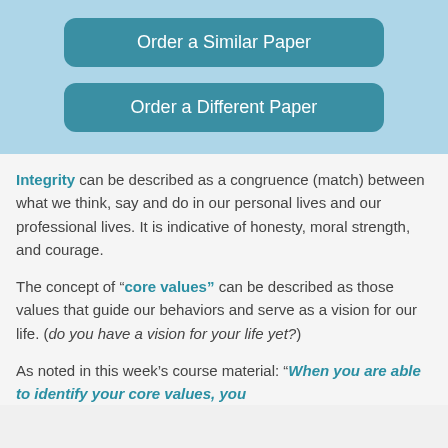[Figure (other): Light blue box with two teal rounded buttons: 'Order a Similar Paper' and 'Order a Different Paper']
Integrity can be described as a congruence (match) between what we think, say and do in our personal lives and our professional lives. It is indicative of honesty, moral strength, and courage.
The concept of “core values” can be described as those values that guide our behaviors and serve as a vision for our life. (do you have a vision for your life yet?)
As noted in this week’s course material: “When you are able to identify your core values, you